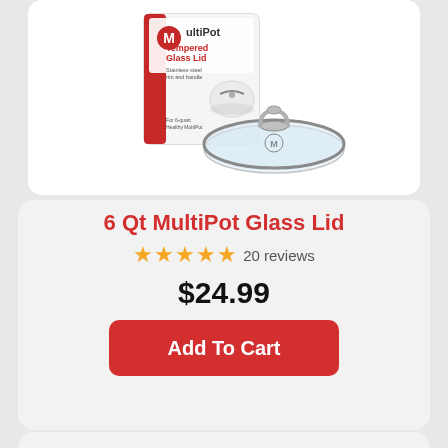[Figure (photo): MultiPot Tempered Glass Lid product photo showing the box and the glass lid with stainless steel rim and handle]
6 Qt MultiPot Glass Lid
★★★★★ 20 reviews
$24.99
Add To Cart